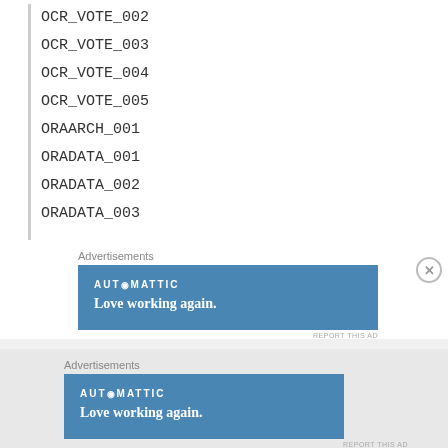OCR_VOTE_002
OCR_VOTE_003
OCR_VOTE_004
OCR_VOTE_005
ORAARCH_001
ORADATA_001
ORADATA_002
ORADATA_003
Advertisements
[Figure (other): AUTOMATTIC advertisement banner: Love working again.]
REPORT THIS AD
Advertisements
[Figure (other): AUTOMATTIC advertisement banner: Love working again.]
REPORT THIS AD